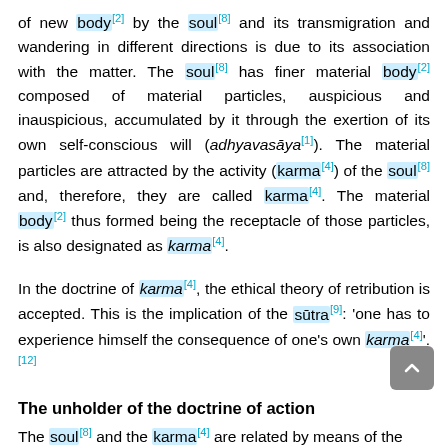of new body[2] by the soul[8] and its transmigration and wandering in different directions is due to its association with the matter. The soul[8] has finer material body[2] composed of material particles, auspicious and inauspicious, accumulated by it through the exertion of its own self-conscious will (adhyavasāya[1]). The material particles are attracted by the activity (karma[4]) of the soul[8] and, therefore, they are called karma[4]. The material body[2] thus formed being the receptacle of those particles, is also designated as karma[4].
In the doctrine of karma[4], the ethical theory of retribution is accepted. This is the implication of the sūtra[9]: 'one has to experience himself the consequence of one's own karma[4]'.[12]
The unholder of the doctrine of action
The soul[8] and the karma[4] are related by means of the